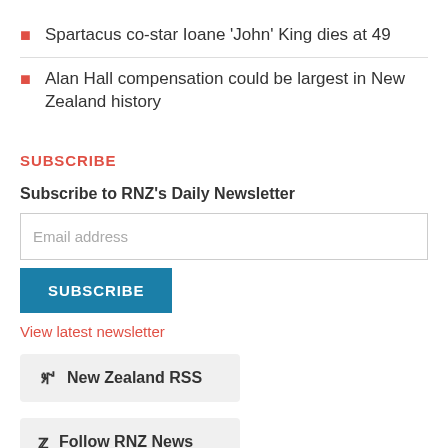Spartacus co-star Ioane 'John' King dies at 49
Alan Hall compensation could be largest in New Zealand history
SUBSCRIBE
Subscribe to RNZ's Daily Newsletter
Email address
SUBSCRIBE
View latest newsletter
New Zealand RSS
Follow RNZ News